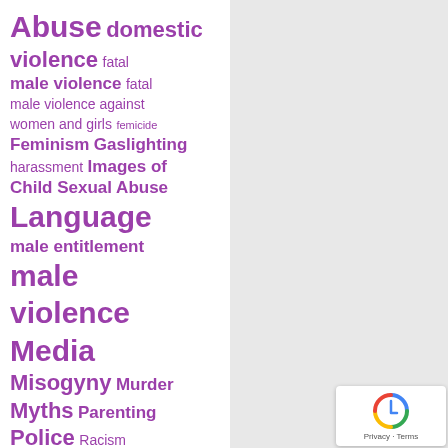[Figure (infographic): Tag cloud with purple/violet colored words of varying sizes representing topics related to violence, abuse, feminism, and related social issues. Larger words appear more prominent. Words include: Abuse, domestic violence, fatal male violence, fatal male violence against women and girls, femicide, Feminism, Gaslighting, harassment, Images of Child Sexual Abuse, Language, male entitlement, male violence, Media, Misogyny, Murder, Myths, Parenting, Police, Racism, Rape, rape culture, rape myths, Sexual Abuse]